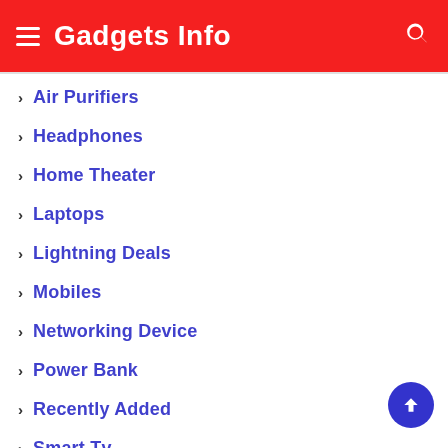Gadgets Info
Air Purifiers
Headphones
Home Theater
Laptops
Lightning Deals
Mobiles
Networking Device
Power Bank
Recently Added
Smart Tv
Smart Watches
Soundbar